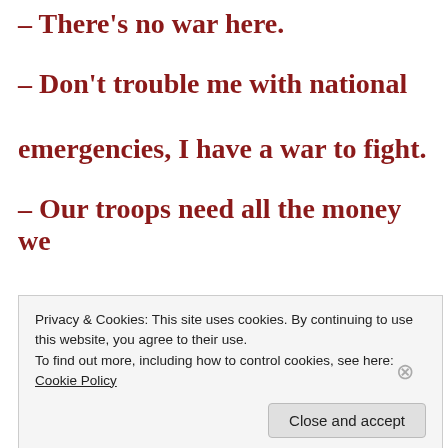– There's no war here.
– Don't trouble me with national emergencies, I have a war to fight.
– Our troops need all the money we can send them to fight the enemy over
Privacy & Cookies: This site uses cookies. By continuing to use this website, you agree to their use. To find out more, including how to control cookies, see here: Cookie Policy
Close and accept